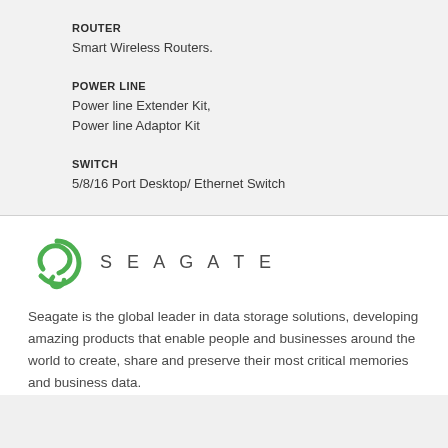ROUTER
Smart Wireless Routers.
POWER LINE
Power line Extender Kit,
Power line Adaptor Kit
SWITCH
5/8/16 Port Desktop/ Ethernet Switch
[Figure (logo): Seagate logo — green spiral S mark with the word SEAGATE in spaced capitals]
Seagate is the global leader in data storage solutions, developing amazing products that enable people and businesses around the world to create, share and preserve their most critical memories and business data.